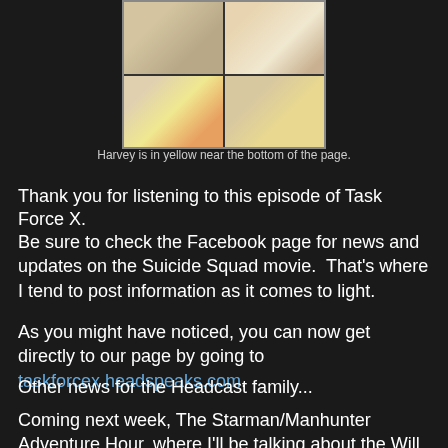[Figure (illustration): Comic book page panels showing characters including Harvey in yellow near the bottom of the page]
Harvey is in yellow near the bottom of the page.
Thank you for listening to this episode of Task Force X.
Be sure to check the Facebook page for news and updates on the Suicide Squad movie.  That's where I tend to post information as it comes to light.
As you might have noticed, you can now get directly to our page by going to taskforcex.headspeaks.com.
Other news for the Headcast family...
Coming next week, The Starman/Manhunter Adventure Hour, where I'll be talking about the Will Payton Starman and